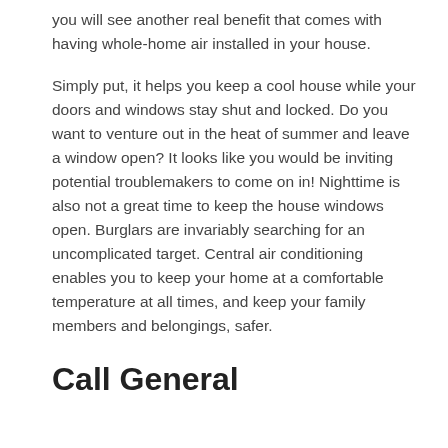you will see another real benefit that comes with having whole-home air installed in your house.
Simply put, it helps you keep a cool house while your doors and windows stay shut and locked. Do you want to venture out in the heat of summer and leave a window open? It looks like you would be inviting potential troublemakers to come on in! Nighttime is also not a great time to keep the house windows open. Burglars are invariably searching for an uncomplicated target. Central air conditioning enables you to keep your home at a comfortable temperature at all times, and keep your family members and belongings, safer.
Call General